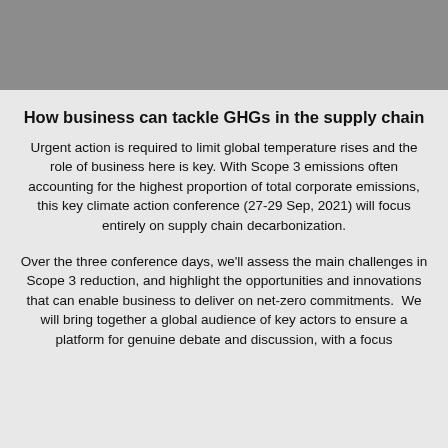[Figure (other): Gray header bar at the top of the page]
How business can tackle GHGs in the supply chain
Urgent action is required to limit global temperature rises and the role of business here is key. With Scope 3 emissions often accounting for the highest proportion of total corporate emissions, this key climate action conference (27-29 Sep, 2021) will focus entirely on supply chain decarbonization.
Over the three conference days, we'll assess the main challenges in Scope 3 reduction, and highlight the opportunities and innovations that can enable business to deliver on net-zero commitments.  We will bring together a global audience of key actors to ensure a platform for genuine debate and discussion, with a focus